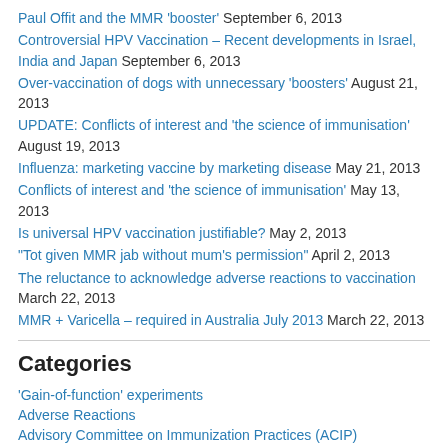Paul Offit and the MMR 'booster' September 6, 2013
Controversial HPV Vaccination – Recent developments in Israel, India and Japan September 6, 2013
Over-vaccination of dogs with unnecessary 'boosters' August 21, 2013
UPDATE: Conflicts of interest and 'the science of immunisation' August 19, 2013
Influenza: marketing vaccine by marketing disease May 21, 2013
Conflicts of interest and 'the science of immunisation' May 13, 2013
Is universal HPV vaccination justifiable? May 2, 2013
“Tot given MMR jab without mum’s permission” April 2, 2013
The reluctance to acknowledge adverse reactions to vaccination March 22, 2013
MMR + Varicella – required in Australia July 2013 March 22, 2013
Categories
'Gain-of-function' experiments
Adverse Reactions
Advisory Committee on Immunization Practices (ACIP)